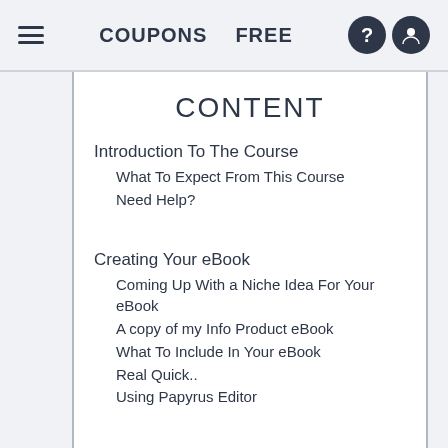COUPONS   FREE
CONTENT
Introduction To The Course
What To Expect From This Course
Need Help?
Creating Your eBook
Coming Up With a Niche Idea For Your eBook
A copy of my Info Product eBook
What To Include In Your eBook
Real Quick..
Using Papyrus Editor